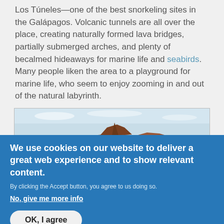Los Túneles—one of the best snorkeling sites in the Galápagos. Volcanic tunnels are all over the place, creating naturally formed lava bridges, partially submerged arches, and plenty of becalmed hideaways for marine life and seabirds. Many people liken the area to a playground for marine life, who seem to enjoy zooming in and out of the natural labyrinth.
[Figure (photo): Panoramic photo of a rocky volcanic island formation rising from turquoise-blue ocean water, with a clear sky above.]
We use cookies on our website to deliver a great web experience and to show relevant content.
By clicking the Accept button, you agree to us doing so.
No, give me more info
OK, I agree